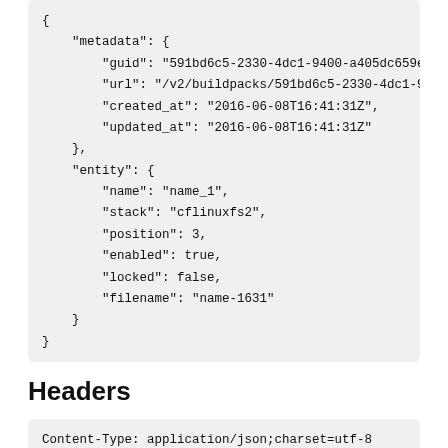{
    "metadata": {
        "guid": "591bd6c5-2330-4dc1-9400-a405dc659ee9",
        "url": "/v2/buildpacks/591bd6c5-2330-4dc1-9400-a
        "created_at": "2016-06-08T16:41:31Z",
        "updated_at": "2016-06-08T16:41:31Z"
    },
    "entity": {
        "name": "name_1",
        "stack": "cflinuxfs2",
        "position": 3,
        "enabled": true,
        "locked": false,
        "filename": "name-1631"
    }
}
Headers
Content-Type: application/json;charset=utf-8
X-VCAP-Request-ID: cd51423f-51ba-42a9-8b1c-945cbb41b
Content-Length: 354
X-Content-Type-Options: nosniff